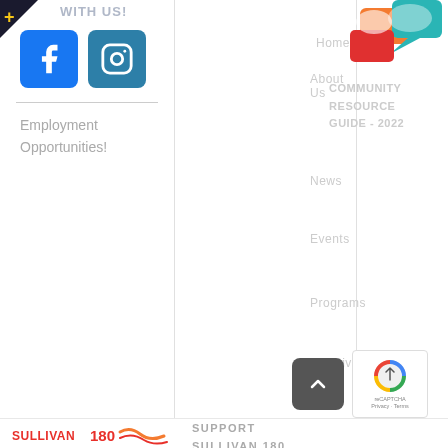WITH US!
[Figure (logo): Facebook icon - blue rounded square with white f letter]
[Figure (logo): Instagram icon - blue rounded square with camera outline]
Employment Opportunities!
[Figure (illustration): Community resource guide illustration with hands and speech bubbles in orange, teal and red]
COMMUNITY RESOURCE GUIDE - 2022
Home
About Us
News
Events
Programs
Initiatives
[Figure (logo): Sullivan 180 logo with red and orange swoosh graphic]
SUPPORT SULLIVAN 180
[Figure (other): Scroll to top button - dark grey rounded square with upward chevron arrow]
[Figure (other): reCAPTCHA badge with Google logo and Privacy Terms text]